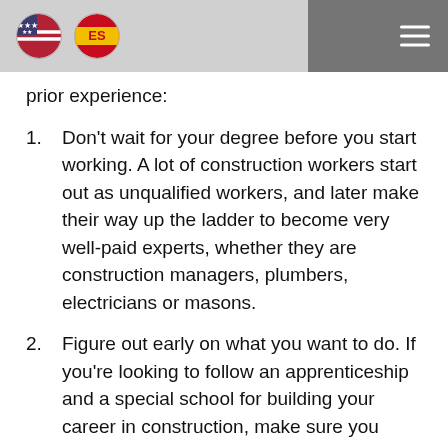US flag icon | ES flag icon | hamburger menu
prior experience:
1. Don't wait for your degree before you start working. A lot of construction workers start out as unqualified workers, and later make their way up the ladder to become very well-paid experts, whether they are construction managers, plumbers, electricians or masons.
2. Figure out early on what you want to do. If you're looking to follow an apprenticeship and a special school for building your career in construction, make sure you know in advance which branch you want to follow – whether it's becoming a property manager, a surveyor or an elevator installer.
3. Build up your strength and stamina. When you first start out as a construction worker, your job might be physically taxing. So make sure you have the resilience